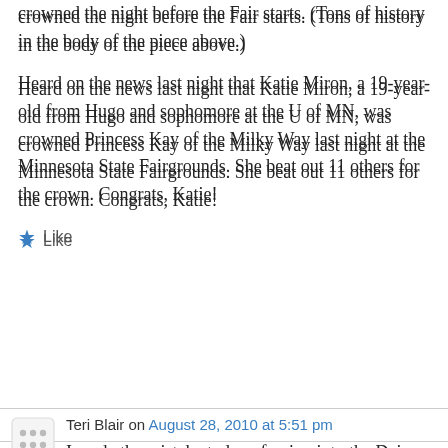crowned the night before the Fair starts. (Tons of history in the body of the piece above.)
Heard on the news last night that Katie Miron, a 19-year-old from Hugo and sophomore at the U of MN, was crowned Princess Kay of the Milky Way last night at the Minnesota State Fairgrounds. She beat out 11 others for the crown. Congrats, Katie!
★ Like
Teri Blair on August 28, 2010 at 5:51 pm
I made the mistake today of going into the Dairy Building on a weekend. What was I thinking? Packed house. And I mean packed.